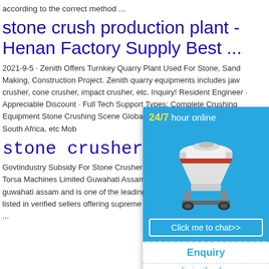according to the correct method ...
stone crush production plant - Henan Factory Supply Best ...
2021-9-5 · Zenith Offers Turnkey Quarry Plant Used For Stone, Sand Making, Construction Project. Zenith quarry equipments includes jaw crusher, cone crusher, impact crusher, etc. Inquiry! Resident Engineer · Appreciable Discount · Full Tech Support Types: Complete Crushing Equipment Stone Crushing Scene Global customer service Kenya, India, South Africa, etc Mob
stone crusher torsha
Govtindustry Subsidy For Stone Crusher Plant Stone Crusher Gauhati. Torsa Machines Limited Guwahati Assam India. The supplier company north guwahati assam and is one of the leading products torsa machines limited is listed in verified sellers offering supreme quality of a crusher stone crushing ...
[Figure (infographic): Chat widget overlay with '24/7 hour online' header in yellow/white text on blue background, an image of a cone crusher machine, a 'Click me to chat>>' button, an 'Enquiry' section, and 'limingjlmofen' text at the bottom.]